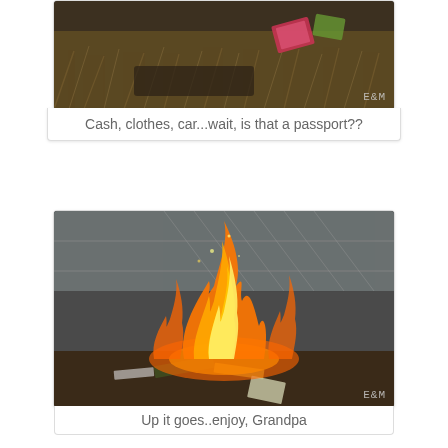[Figure (photo): Photo of items including what appears to be a passport laid on dry grass/ground with watermark 'E&M' in corner]
Cash, clothes, car...wait, is that a passport??
[Figure (photo): Photo of a large bonfire burning items outdoors near a chain-link fence, with paper/cardboard items visible in the flames. Watermark 'E&M' in corner.]
Up it goes..enjoy, Grandpa